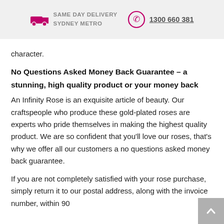SAME DAY DELIVERY SYDNEY METRO   1300 660 381
character.
No Questions Asked Money Back Guarantee – a stunning, high quality product or your money back
An Infinity Rose is an exquisite article of beauty. Our craftspeople who produce these gold-plated roses are experts who pride themselves in making the highest quality product. We are so confident that you'll love our roses, that's why we offer all our customers a no questions asked money back guarantee.
If you are not completely satisfied with your rose purchase, simply return it to our postal address, along with the invoice number, within 90